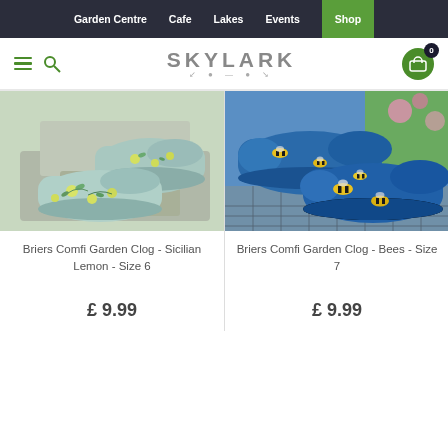Garden Centre  Cafe  Lakes  Events  Shop
[Figure (logo): Skylark garden centre logo with hamburger menu, search icon, and shopping cart (0 items)]
[Figure (photo): Briers Comfi Garden Clog - Sicilian Lemon - Size 6: light blue/mint clogs with lemon and leaf print pattern, displayed on stone garden steps]
Briers Comfi Garden Clog - Sicilian Lemon - Size 6
£ 9.99
[Figure (photo): Briers Comfi Garden Clog - Bees - Size 7: blue clogs with bee pattern, displayed on stone garden steps with grass in background]
Briers Comfi Garden Clog - Bees - Size 7
£ 9.99